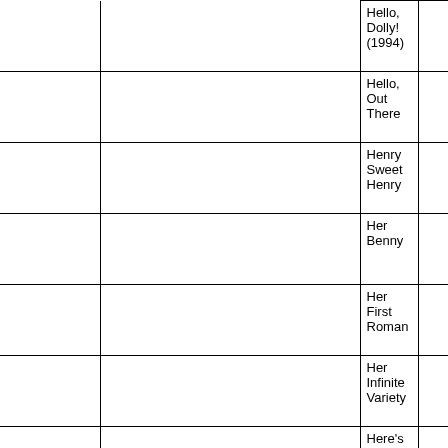|  |  | Hello, Dolly! (1994) |  |
|  |  | Hello, Out There |  |
|  |  | Henry Sweet Henry |  |
|  |  | Her Benny |  |
|  |  | Her First Roman |  |
|  |  | Her Infinite Variety |  |
|  |  | Here's Love |  |
|  |  | Hey, Ma! |  |